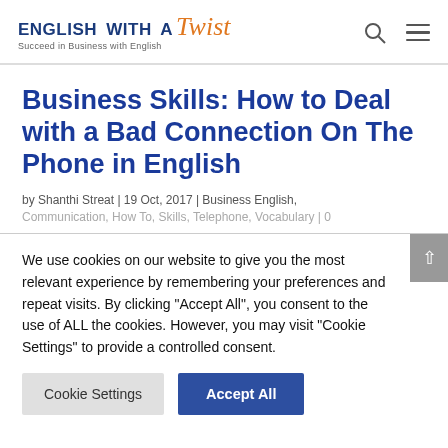ENGLISH WITH A Twist — Succeed in Business with English
Business Skills: How to Deal with a Bad Connection On The Phone in English
by Shanthi Streat | 19 Oct, 2017 | Business English, Communication, How To, Skills, Telephone, Vocabulary | 0
We use cookies on our website to give you the most relevant experience by remembering your preferences and repeat visits. By clicking "Accept All", you consent to the use of ALL the cookies. However, you may visit "Cookie Settings" to provide a controlled consent.